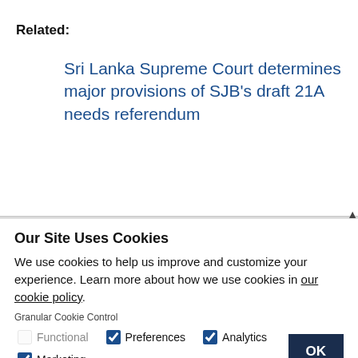Related:
Sri Lanka Supreme Court determines major provisions of SJB's draft 21A needs referendum
Our Site Uses Cookies
We use cookies to help us improve and customize your experience. Learn more about how we use cookies in our cookie policy.
Granular Cookie Control
Functional  Preferences  Analytics  Marketing  OK